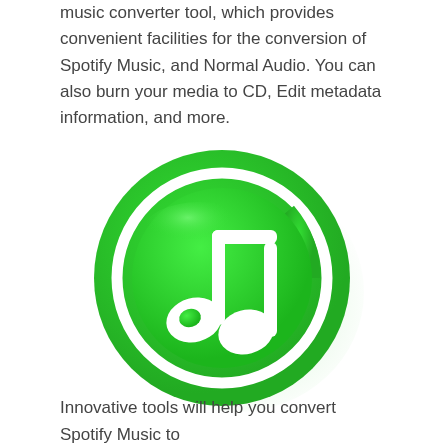music converter tool, which provides convenient facilities for the conversion of Spotify Music, and Normal Audio. You can also burn your media to CD, Edit metadata information, and more.
[Figure (logo): Green circular music note logo with a gradient 3D effect and a white musical note symbol in the center, surrounded by concentric green rings with a shadow effect.]
Innovative tools will help you convert Spotify Music to